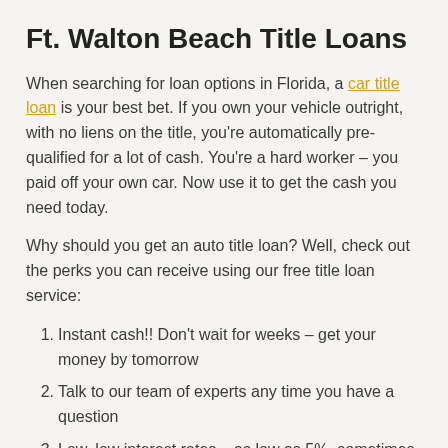Ft. Walton Beach Title Loans
When searching for loan options in Florida, a car title loan is your best bet. If you own your vehicle outright, with no liens on the title, you’re automatically pre-qualified for a lot of cash. You’re a hard worker – you paid off your own car. Now use it to get the cash you need today.
Why should you get an auto title loan? Well, check out the perks you can receive using our free title loan service:
Instant cash!! Don’t wait for weeks – get your money by tomorrow
Talk to our team of experts any time you have a question
Low, low interest rates – as low as 5%, sometimes even as low as 3%!